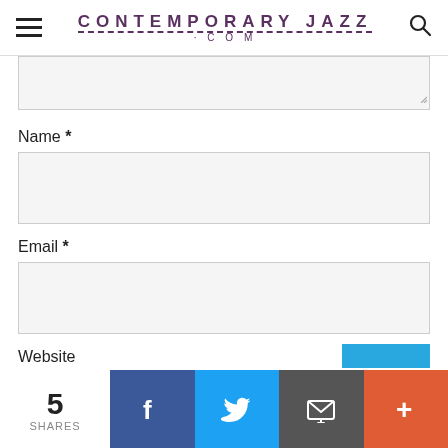CONTEMPORARY JAZZ .COM
[Figure (screenshot): Website comment form with fields for Name, Email, and Website, and a social share bar at the bottom with 5 shares, Facebook, Twitter, Email, and More buttons.]